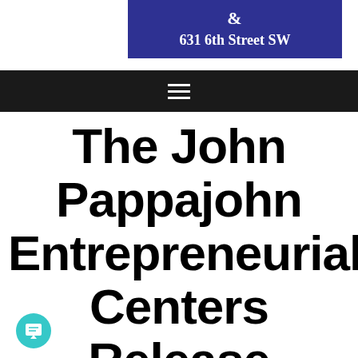& 631 6th Street SW
[Figure (other): Black navigation bar with hamburger menu icon (three horizontal white lines)]
The John Pappajohn Entrepreneurial Centers Release Progress Report